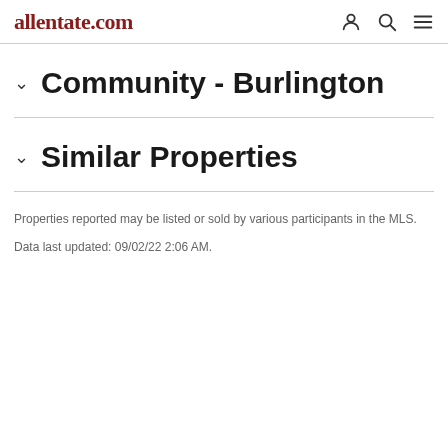allentate.com
Community - Burlington
Similar Properties
Properties reported may be listed or sold by various participants in the MLS.
Data last updated: 09/02/22 2:06 AM.